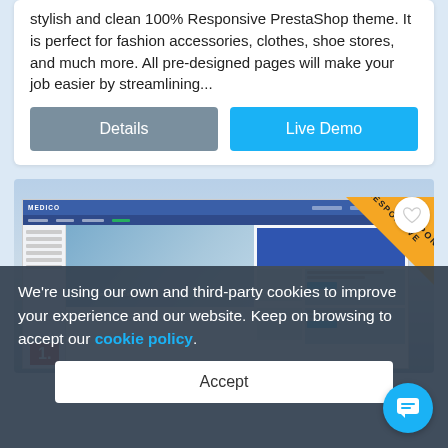stylish and clean 100% Responsive PrestaShop theme. It is perfect for fashion accessories, clothes, shoe stores, and much more. All pre-designed pages will make your job easier by streamlining...
Details
Live Demo
[Figure (screenshot): Screenshot of a medical/dental PrestaShop theme called MEDICO, showing a blue navigation bar, dental clinic imagery, and product panels on the right. A gold 'RESPONSIVE' badge is in the top right corner with a heart/favorite icon.]
We're using our own and third-party cookies to improve your experience and our website. Keep on browsing to accept our cookie policy.
Accept